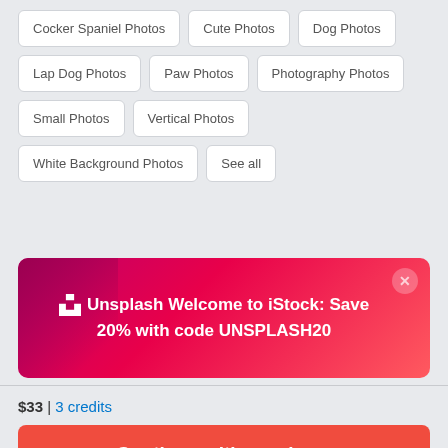Cocker Spaniel Photos
Cute Photos
Dog Photos
Lap Dog Photos
Paw Photos
Photography Photos
Small Photos
Vertical Photos
White Background Photos
See all
[Figure (infographic): Unsplash promotional banner on iStock: magenta/pink gradient background with Unsplash logo and text 'Welcome to iStock: Save 20% with code UNSPLASH20']
$33 | 3 credits
Continue with purchase